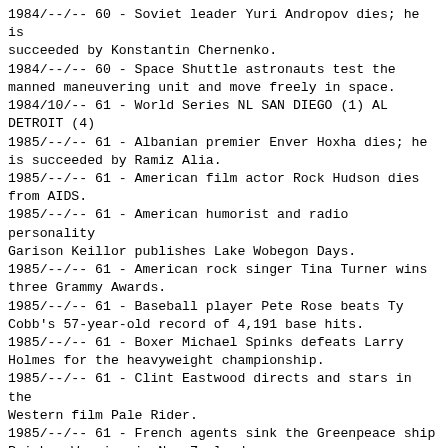1984/--/-- 60 - Soviet leader Yuri Andropov dies; he is succeeded by Konstantin Chernenko.
1984/--/-- 60 - Space Shuttle astronauts test the manned maneuvering unit and move freely in space.
1984/10/-- 61 - World Series NL SAN DIEGO (1) AL DETROIT (4)
1985/--/-- 61 - Albanian premier Enver Hoxha dies; he is succeeded by Ramiz Alia.
1985/--/-- 61 - American film actor Rock Hudson dies from AIDS.
1985/--/-- 61 - American humorist and radio personality Garison Keillor publishes Lake Wobegon Days.
1985/--/-- 61 - American rock singer Tina Turner wins three Grammy Awards.
1985/--/-- 61 - Baseball player Pete Rose beats Ty Cobb's 57-year-old record of 4,191 base hits.
1985/--/-- 61 - Boxer Michael Spinks defeats Larry Holmes for the heavyweight championship.
1985/--/-- 61 - Clint Eastwood directs and stars in the Western film Pale Rider.
1985/--/-- 61 - French agents sink the Greenpeace ship Rainbow Warrior in New Zealand.
1985/--/-- 61 - Gorbachev unravels Soviet system
1985/--/-- 61 - Jose de Sarney becomes the first civilian president of Brazil in 21 years.
1985/--/-- 61 - Julius Nyerere is succeeded as president of Tanzania by Ali Hassan Mwinyi.
1985/--/-- 61 - Maj.-Gen. Mohammed Buhari is ousted in a bloodless coup in Nigeria.
1985/--/-- 61 - Mexico City is heavily damaged by an earthquake.